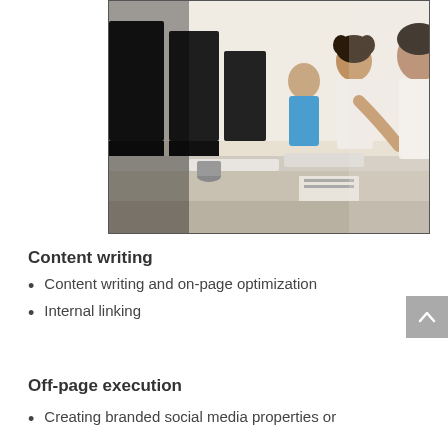[Figure (photo): People sitting at computers in a computer lab or office setting, working at desks with monitors and keyboards, multiple people visible in a row]
Content writing
Content writing and on-page optimization
Internal linking
Off-page execution
Creating branded social media properties or